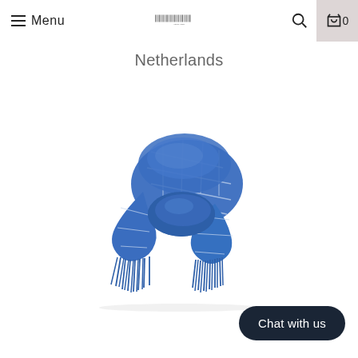Menu  [logo]  [search] [cart] 0
Netherlands
[Figure (photo): A blue plaid wool scarf with fringe, knotted/coiled and displayed against a white background.]
Chat with us